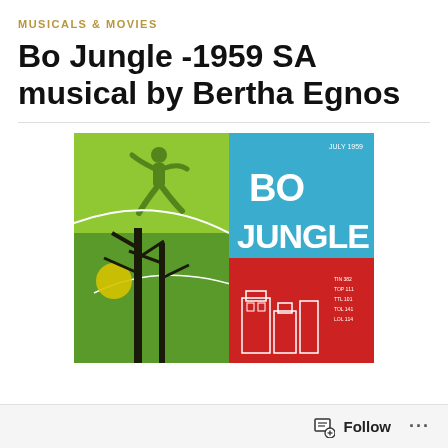MUSICALS & MOVIES
Bo Jungle -1959 SA musical by Bertha Egnos
[Figure (photo): Album cover of Bo Jungle (1959 SA musical by Bertha Egnos). Left half shows a green background with a silhouette of a running/leaping figure and dark tree trunks. Top right is a blue panel with bold white text reading 'BO JUNGLE'. Bottom right is a red panel with white outline drawings of buildings.]
Follow ...